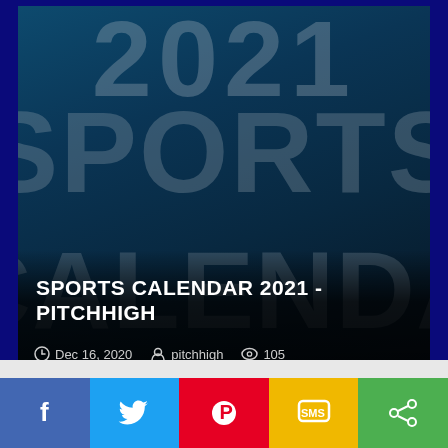[Figure (photo): Dark blue background image showing faded large text '2021', 'SPORTS', and 'CALENDA' with overlay title and metadata]
SPORTS CALENDAR 2021 - PITCHHIGH
Dec 16, 2020  pitchhigh  105
[Figure (infographic): Social sharing button bar with Facebook, Twitter, Pinterest, SMS, and Share buttons]